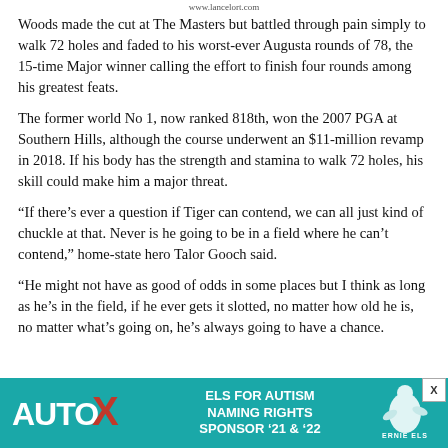www.lancelort.com
Woods made the cut at The Masters but battled through pain simply to walk 72 holes and faded to his worst-ever Augusta rounds of 78, the 15-time Major winner calling the effort to finish four rounds among his greatest feats.
The former world No 1, now ranked 818th, won the 2007 PGA at Southern Hills, although the course underwent an $11-million revamp in 2018. If his body has the strength and stamina to walk 72 holes, his skill could make him a major threat.
“If there’s ever a question if Tiger can contend, we can all just kind of chuckle at that. Never is he going to be in a field where he can’t contend,” home-state hero Talor Gooch said.
“He might not have as good of odds in some places but I think as long as he’s in the field, if he ever gets it slotted, no matter how old he is, no matter what’s going on, he’s always going to have a chance.
[Figure (infographic): Advertisement banner: AutoX logo on left, 'ELS FOR AUTISM NAMING RIGHTS SPONSOR '21 & '22' text in center, Ernie Els logo on right, teal background. Close button (X) in top-right corner.]